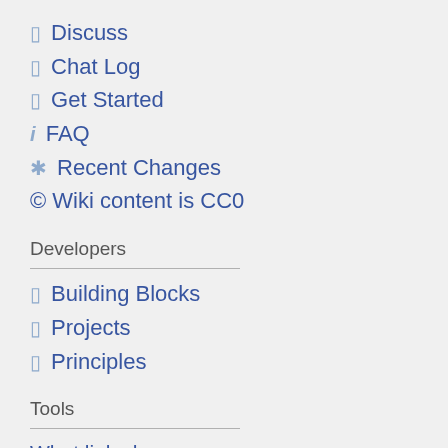⬜ Discuss
⬜ Chat Log
⬜ Get Started
i FAQ
✳ Recent Changes
© Wiki content is CC0
Developers
⬜ Building Blocks
⬜ Projects
⬜ Principles
Tools
What links here
Related changes